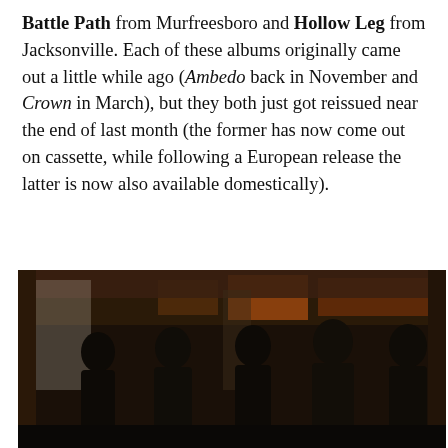Battle Path from Murfreesboro and Hollow Leg from Jacksonville. Each of these albums originally came out a little while ago (Ambedo back in November and Crown in March), but they both just got reissued near the end of last month (the former has now come out on cassette, while following a European release the latter is now also available domestically).
[Figure (photo): Dark photo showing silhouettes of five people standing in what appears to be a dimly lit industrial or venue space, with warm orange/amber lighting visible in the background through windows or openings.]